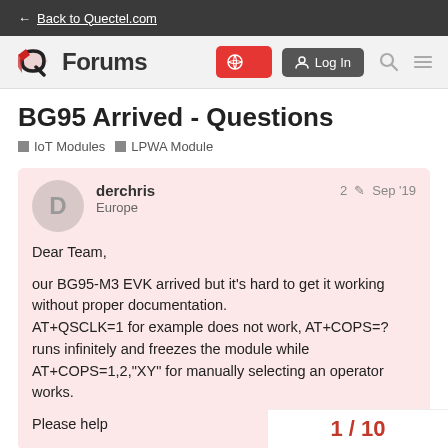← Back to Quectel.com
[Figure (screenshot): Quectel Forums navigation bar with logo, Forums text, language selector button, Log In button, search icon, and menu icon]
BG95 Arrived - Questions
IoT Modules   LPWA Module
derchris
Europe
2  Sep '19
Dear Team,

our BG95-M3 EVK arrived but it's hard to get it working without proper documentation.
AT+QSCLK=1 for example does not work, AT+COPS=? runs infinitely and freezes the module while AT+COPS=1,2,"XY" for manually selecting an operator works.

Please help
1 / 10